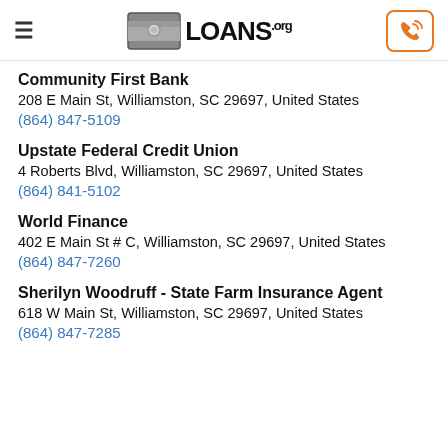LOANS.org
Community First Bank
208 E Main St, Williamston, SC 29697, United States
(864) 847-5109
Upstate Federal Credit Union
4 Roberts Blvd, Williamston, SC 29697, United States
(864) 841-5102
World Finance
402 E Main St # C, Williamston, SC 29697, United States
(864) 847-7260
Sherilyn Woodruff - State Farm Insurance Agent
618 W Main St, Williamston, SC 29697, United States
(864) 847-7285